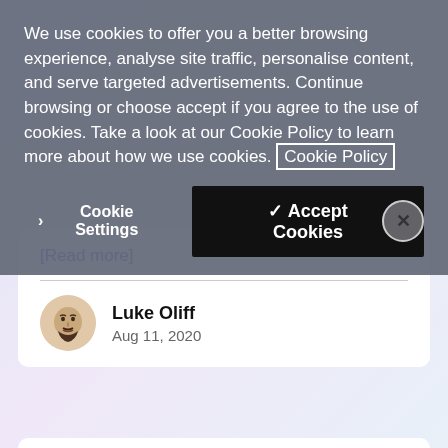We use cookies to offer you a better browsing experience, analyse site traffic, personalise content, and serve targeted advertisements. Continue browsing or choose accept if you agree to the use of cookies. Take a look at our Cookie Policy to learn more about how we use cookies. Cookie Policy
Cookie Settings   ✓ Accept Cookies   ×
[Read more]
Luke Oliff
Aug 11, 2020
# node   Vmessages-api